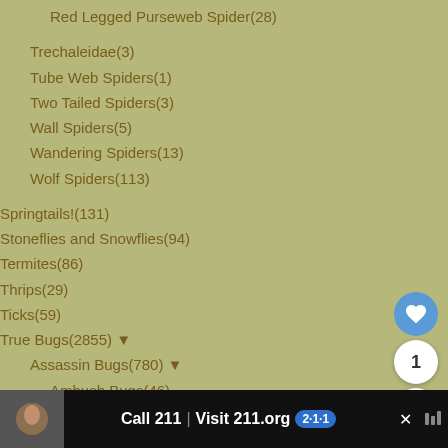Red Legged Purseweb Spider(28)
Trechaleidae(3)
Tube Web Spiders(1)
Two Tailed Spiders(3)
Wall Spiders(5)
Wandering Spiders(13)
Wolf Spiders(113)
Springtails!(131)
Stoneflies and Snowflies(94)
Termites(86)
Thrips(29)
Ticks(59)
True Bugs(2855) ▼
Assassin Bugs(780) ▼
Ambush Bugs(46)
Bark Bugs(1)
Bedbugs(109)